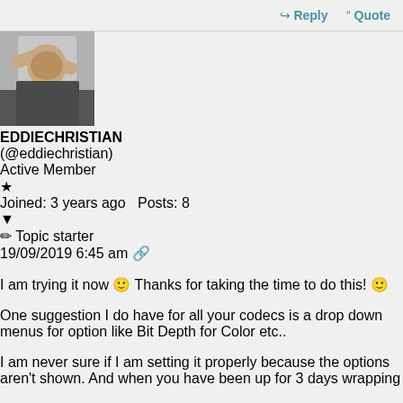Reply   Quote
EDDIECHRISTIAN (@eddiechristian) Active Member  Joined: 3 years ago  Posts: 8
Topic starter   19/09/2019 6:45 am
I am trying it now 🙂 Thanks for taking the time to do this! 🙂
One suggestion I do have for all your codecs is a drop down menus for option like Bit Depth for Color etc..
I am never sure if I am setting it properly because the options aren't shown. And when you have been up for 3 days wrapping
This site uses cookies: Find out more.   Okay, thanks